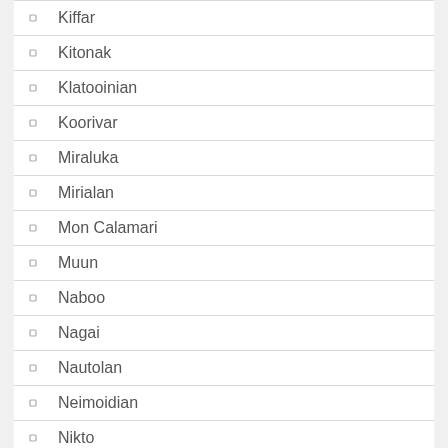Kiffar
Kitonak
Klatooinian
Koorivar
Miraluka
Mirialan
Mon Calamari
Muun
Naboo
Nagai
Nautolan
Neimoidian
Nikto
Noghri
Nosaurian